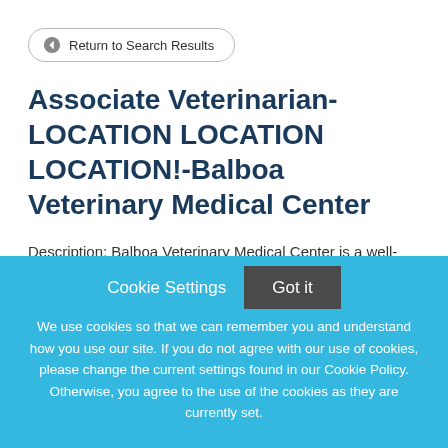Return to Search Results
Associate Veterinarian-LOCATION LOCATION LOCATION!-Balboa Veterinary Medical Center
Description: Balboa Veterinary Medical Center is a well-established, high volume, veterinary hospital located
Cookie Settings
Got it
We use cookies so that we can remember you and understand how you use our site. If you do not agree with our use of cookies, please change the current settings found in our Cookie Policy. Otherwise, you agree to the use of the cookies as they are currently set.